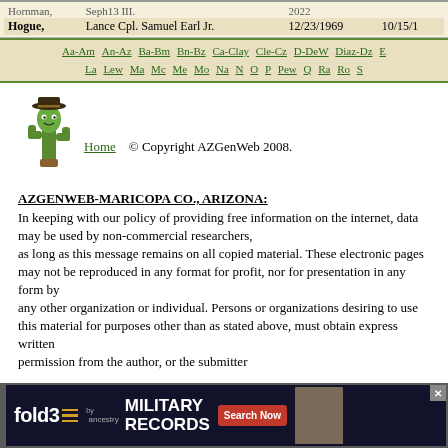| Name | Rank/Name | DOB | Date |
| --- | --- | --- | --- |
| Hogue, | Lance Cpl. Samuel Earl Jr. | 12/23/1969 | 10/15/1... |
Aa-Am An-Az Ba-Bm Bn-Bz Ca-Clay Cle-Cz D-DeW Diaz-Dz ... La Lew Ma Mc Me Mo Na N O P Pew Q Ra Ro S
[Figure (illustration): AZGenWeb cactus mascot with cowboy hat]
Home © Copyright AZGenWeb 2008.
AZGENWEB-MARICOPA CO., ARIZONA:
In keeping with our policy of providing free information on the internet, data may be used by non-commercial researchers, as long as this message remains on all copied material. These electronic pages may not be reproduced in any format for profit, nor for presentation in any form by any other organization or individual. Persons or organizations desiring to use this material for purposes other than as stated above, must obtain express written permission from the author, or the submitter
[Figure (advertisement): fold3 by Ancestry - Military Records Search Now advertisement banner]